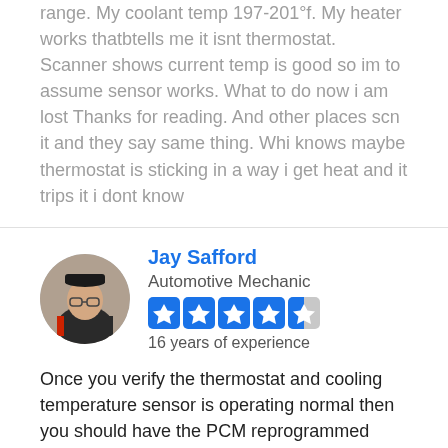range. My coolant temp 197-201°f. My heater works thatbtells me it isnt thermostat. Scanner shows current temp is good so im to assume sensor works. What to do now i am lost Thanks for reading. And other places scn it and they say same thing. Whi knows maybe thermostat is sticking in a way i get heat and it trips it i dont know
[Figure (photo): Circular avatar photo of Jay Safford, an automotive mechanic wearing a dark jacket with red trim and a cap]
Jay Safford
Automotive Mechanic
16 years of experience
Once you verify the thermostat and cooling temperature sensor is operating normal then you should have the PCM reprogrammed following technical bulletin 18-032-11. The bulletin will reprogram the computer to a